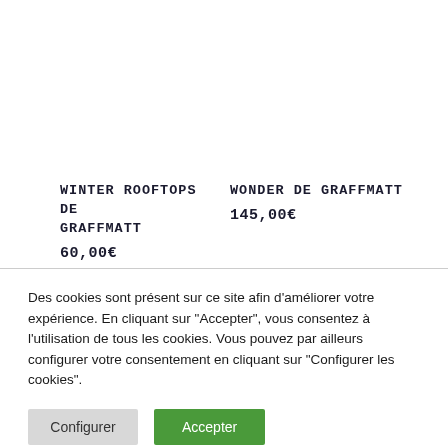WINTER ROOFTOPS DE GRAFFMATT
60,00€
WONDER DE GRAFFMATT
145,00€
Des cookies sont présent sur ce site afin d'améliorer votre expérience. En cliquant sur "Accepter", vous consentez à l'utilisation de tous les cookies. Vous pouvez par ailleurs configurer votre consentement en cliquant sur "Configurer les cookies".
Configurer
Accepter